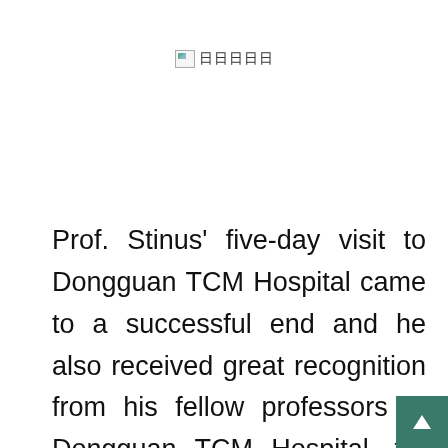[Figure (other): A broken/missing image placeholder with a small landscape icon followed by Chinese characters (日日日日日)]
Prof. Stinus' five-day visit to Dongguan TCM Hospital came to a successful end and he also received great recognition from his fellow professors in Dongguan TCM Hospital, for the doctor perceived that Prof. Stinus brought some novel theories on the treatment of foot and ankle which helped them to break down their stereotype on foot and ankle treatment. Prof. Stinus also